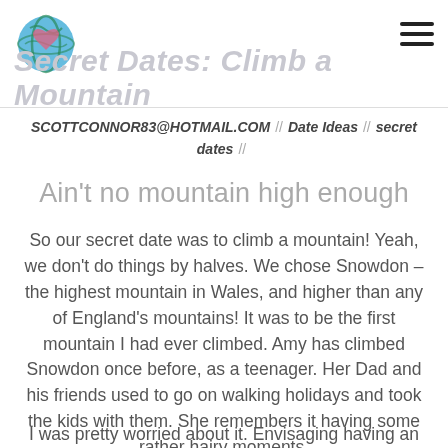Secret Dates: Climb a Mountain
SCOTTCONNOR83@HOTMAIL.COM // Date Ideas // secret dates //
Ain't no mountain high enough
So our secret date was to climb a mountain! Yeah, we don't do things by halves. We chose Snowdon – the highest mountain in Wales, and higher than any of England's mountains! It was to be the first mountain I had ever climbed. Amy has climbed Snowdon once before, as a teenager. Her Dad and his friends used to go on walking holidays and took the kids with them. She remembers it having some rather hairy moments.
I was pretty worried about it. Envisaging having an